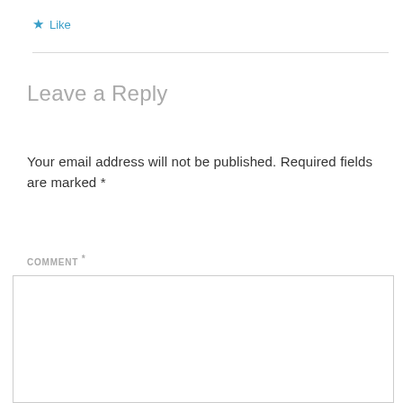★ Like
Leave a Reply
Your email address will not be published. Required fields are marked *
COMMENT *